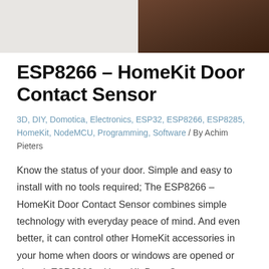[Figure (photo): Two photos side by side cropped at top: left shows a light-colored surface/device, right shows a dark wood-grain surface]
ESP8266 – HomeKit Door Contact Sensor
3D, DIY, Domotica, Electronics, ESP32, ESP8266, ESP8285, HomeKit, NodeMCU, Programming, Software / By Achim Pieters
Know the status of your door. Simple and easy to install with no tools required; The ESP8266 – HomeKit Door Contact Sensor combines simple technology with everyday peace of mind. And even better, it can control other HomeKit accessories in your home when doors or windows are opened or closed. ESP8266 – HomeKit Door Contact …